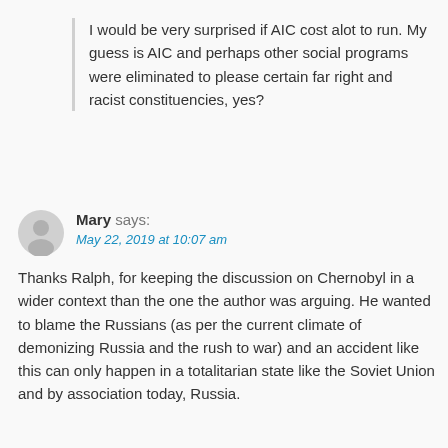I would be very surprised if AIC cost alot to run. My guess is AIC and perhaps other social programs were eliminated to please certain far right and racist constituencies, yes?
Mary says: May 22, 2019 at 10:07 am
Thanks Ralph, for keeping the discussion on Chernobyl in a wider context than the one the author was arguing. He wanted to blame the Russians (as per the current climate of demonizing Russia and the rush to war) and an accident like this can only happen in a totalitarian state like the Soviet Union and by association today, Russia.